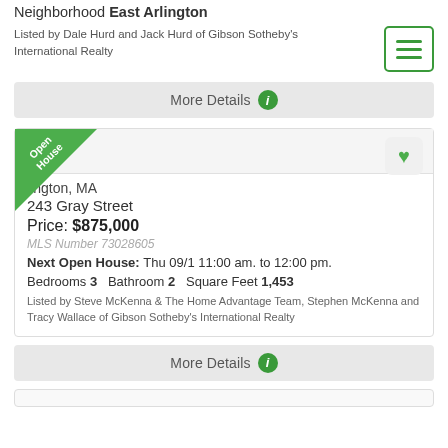Neighborhood East Arlington
Listed by Dale Hurd and Jack Hurd of Gibson Sotheby's International Realty
More Details
Arlington, MA
243 Gray Street
Price: $875,000
MLS Number 73028605
Next Open House: Thu 09/1 11:00 am. to 12:00 pm.
Bedrooms 3   Bathroom 2   Square Feet 1,453
Listed by Steve McKenna & The Home Advantage Team, Stephen McKenna and Tracy Wallace of Gibson Sotheby's International Realty
More Details